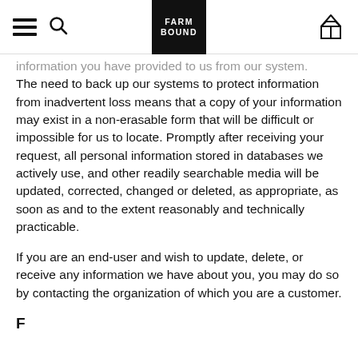FARM BOUND
information you have provided to us from our system. The need to back up our systems to protect information from inadvertent loss means that a copy of your information may exist in a non-erasable form that will be difficult or impossible for us to locate. Promptly after receiving your request, all personal information stored in databases we actively use, and other readily searchable media will be updated, corrected, changed or deleted, as appropriate, as soon as and to the extent reasonably and technically practicable.
If you are an end-user and wish to update, delete, or receive any information we have about you, you may do so by contacting the organization of which you are a customer.